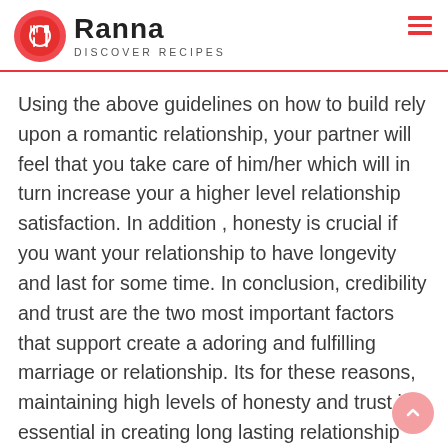Ranna – Discover Recipes
Using the above guidelines on how to build rely upon a romantic relationship, your partner will feel that you take care of him/her which will in turn increase your a higher level relationship satisfaction. In addition , honesty is crucial if you want your relationship to have longevity and last for some time. In conclusion, credibility and trust are the two most important factors that support create a adoring and fulfilling marriage or relationship. Its for these reasons, maintaining high levels of honesty and trust is essential in creating long lasting relationship satisfaction. Hence, for no reason take the relationship for granted, always place a high main concern on